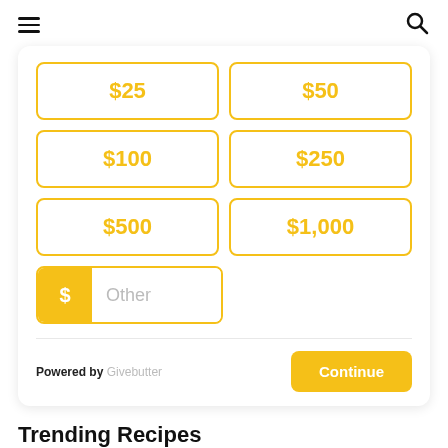≡ (hamburger menu) | (search icon)
[Figure (screenshot): Donation amount selection widget with buttons for $25, $50, $100, $250, $500, $1,000, and an Other input field with dollar sign badge. Footer shows 'Powered by Givebutter' and a yellow Continue button.]
Trending Recipes